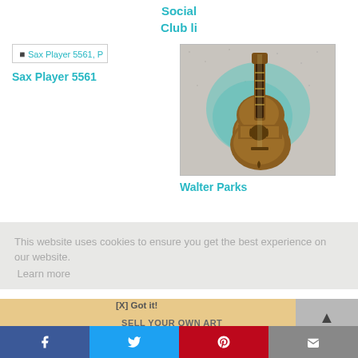Social
Club li
[Figure (other): Broken image placeholder labeled 'Sax Player 5561, P']
Sax Player 5561
[Figure (photo): Photo of a guitar painting with teal/green watercolor background on grey speckled paper - Walter Parks artwork]
Walter Parks
This website uses cookies to ensure you get the best experience on our website.
Learn more
[X] Got it!
SELL YOUR OWN ART